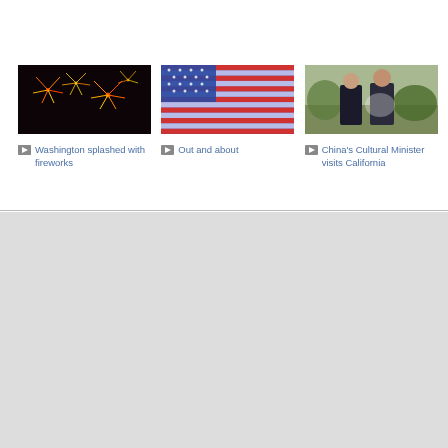[Figure (photo): Fireworks display against dark sky]
Washington splashed with fireworks
[Figure (photo): Illuminated American flag display]
Out and about
[Figure (photo): Two men standing outdoors, China's Cultural Minister visit]
China's Cultural Minister visits California